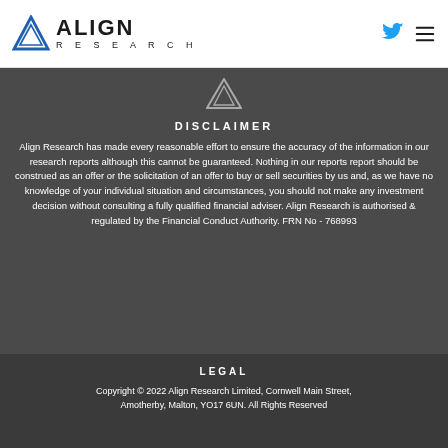ALIGN RESEARCH
DISCLAIMER
Align Research has made every reasonable effort to ensure the accuracy of the information in our research reports although this cannot be guaranteed. Nothing in our reports report should be construed as an offer or the solicitation of an offer to buy or sell securities by us and, as we have no knowledge of your individual situation and circumstances, you should not make any investment decision without consulting a fully qualified financial adviser. Align Research is authorised & regulated by the Financial Conduct Authority. FRN No - 768993
LEGAL
Copyright © 2022 Align Research Limited, Cornwell Main Street, Amotherby, Malton, YO17 6UN. All Rights Reserved